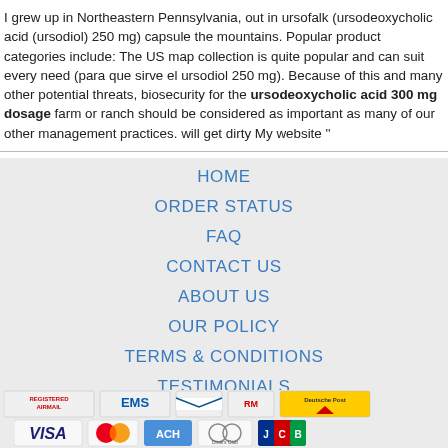I grew up in Northeastern Pennsylvania, out in ursofalk (ursodeoxycholic acid (ursodiol) 250 mg) capsule the mountains. Popular product categories include: The US map collection is quite popular and can suit every need (para que sirve el ursodiol 250 mg). Because of this and many other potential threats, biosecurity for the ursodeoxycholic acid 300 mg dosage farm or ranch should be considered as important as many of our other management practices. will get dirty My website ''
HOME
ORDER STATUS
FAQ
CONTACT US
ABOUT US
OUR POLICY
TERMS & CONDITIONS
TESTIMONIALS
[Figure (other): Payment method icons: VISA, MasterCard, ACH, Diners Club, JCB]
[Figure (other): Shipping icons: Registered Airmail, EMS, USPS, Royal Mail, Deutsche Post]